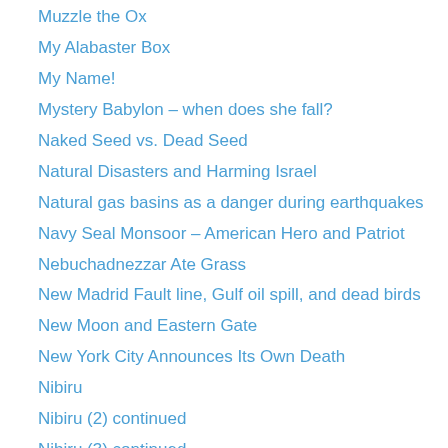Muzzle the Ox
My Alabaster Box
My Name!
Mystery Babylon – when does she fall?
Naked Seed vs. Dead Seed
Natural Disasters and Harming Israel
Natural gas basins as a danger during earthquakes
Navy Seal Monsoor – American Hero and Patriot
Nebuchadnezzar Ate Grass
New Madrid Fault line, Gulf oil spill, and dead birds
New Moon and Eastern Gate
New York City Announces Its Own Death
Nibiru
Nibiru (2) continued
Nibiru (3) continued
Nibiru (4) 2017-2018
Nibiru's Projected Path from 2011 – 2018?
Nile is Red Before Passover
No Fire, No Sacrifice
No More Sea – Pangea?